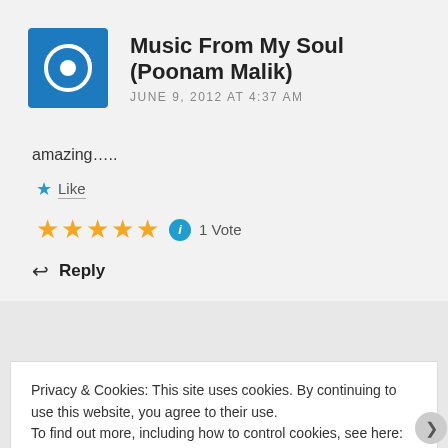Music From My Soul (Poonam Malik) — JUNE 9, 2012 AT 4:37 AM
amazing…..
★ Like
★★★★★ ℹ 1 Vote
↩ Reply
Privacy & Cookies: This site uses cookies. By continuing to use this website, you agree to their use.
To find out more, including how to control cookies, see here: Cookie Policy
Close and accept